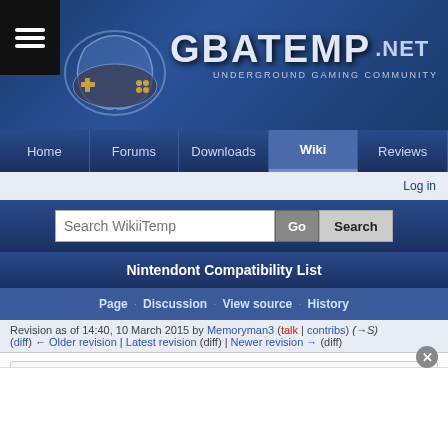[Figure (screenshot): GBATemp.net website header banner with logo, blue gradient background, and game controller icon]
Home  Forums  Downloads  Wiki  Reviews
Log in
Search WikiiTemp  Go  Search
Nintendont Compatibility List
Page · Discussion · View source · History
Revision as of 14:40, 10 March 2015 by Memoryman3 (talk | contribs) (→S)
(diff) ← Older revision | Latest revision (diff) | Newer revision → (diff)
Contents: Top - # A B C D E F G H I J K L M N O P Q R S T U V W X Y Z
Compatibility list for Nintendont. Anyone is free to edit this list without an